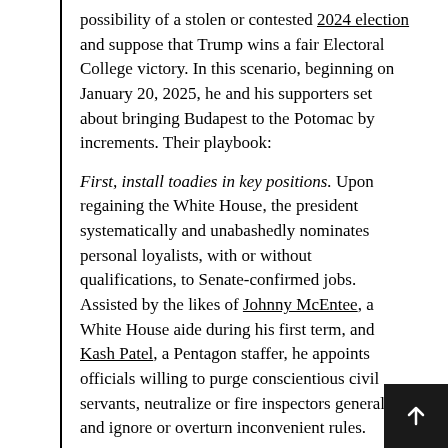possibility of a stolen or contested 2024 election and suppose that Trump wins a fair Electoral College victory. In this scenario, beginning on January 20, 2025, he and his supporters set about bringing Budapest to the Potomac by increments. Their playbook:
First, install toadies in key positions. Upon regaining the White House, the president systematically and unabashedly nominates personal loyalists, with or without qualifications, to Senate-confirmed jobs. Assisted by the likes of Johnny McEntee, a White House aide during his first term, and Kash Patel, a Pentagon staffer, he appoints officials willing to purge conscientious civil servants, neutralize or fire inspectors general, and ignore or overturn inconvenient rules.